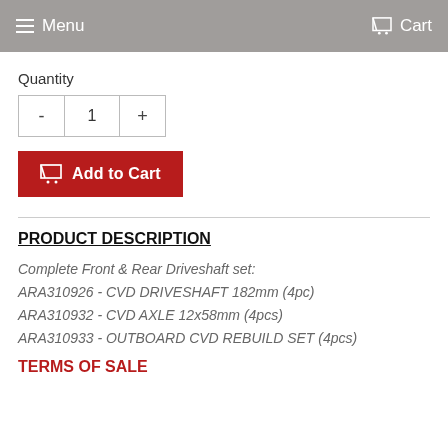Menu   Cart
Quantity
- 1 +
Add to Cart
PRODUCT DESCRIPTION
Complete Front & Rear Driveshaft set:
ARA310926 - CVD DRIVESHAFT 182mm (4pc)
ARA310932 - CVD AXLE 12x58mm (4pcs)
ARA310933 - OUTBOARD CVD REBUILD SET (4pcs)
TERMS OF SALE